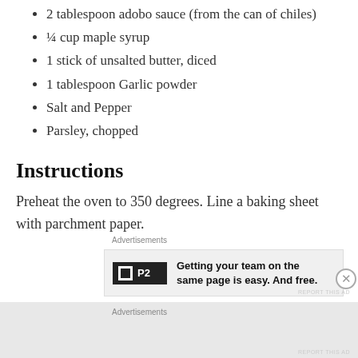2 tablespoon adobo sauce (from the can of chiles)
¼ cup maple syrup
1 stick of unsalted butter, diced
1 tablespoon Garlic powder
Salt and Pepper
Parsley, chopped
Instructions
Preheat the oven to 350 degrees. Line a baking sheet with parchment paper.
Advertisements
[Figure (other): Advertisement banner: P2 logo with text 'Getting your team on the same page is easy. And free.']
Advertisements